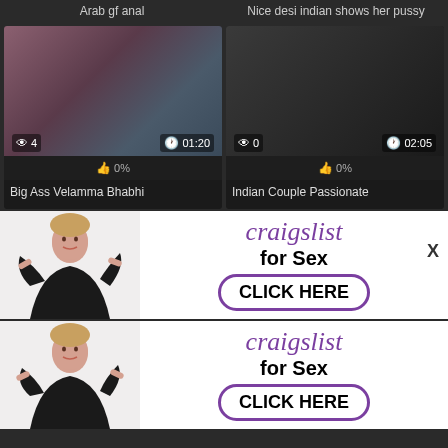Arab gf anal
Nice desi indian shows her pussy
[Figure (screenshot): Video thumbnail grid showing two adult video cards with thumbnails, view counts, durations, like percentages, and titles. Left card: 4 views, 01:20, 0%, Big Ass Velamma Bhabhi. Right card: 0 views, 02:05, 0%, Indian Couple Passionate]
[Figure (screenshot): Advertisement banner for craigslist for Sex with CLICK HERE button, repeated twice]